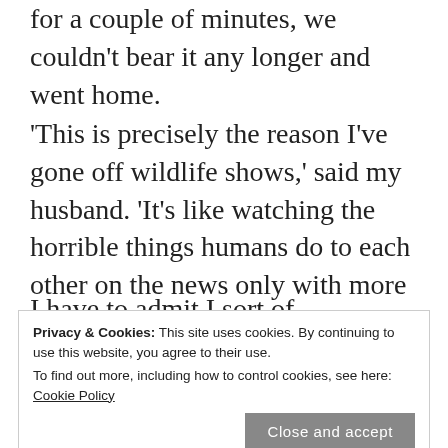for a couple of minutes, we couldn't bear it any longer and went home.
'This is precisely the reason I've gone off wildlife shows,' said my husband. 'It's like watching the horrible things humans do to each other on the news only with more arty photography.'
I have to admit I sort of understand.
The following day we went for the same walk. The river was peaceful, all visible creatures co-existing in
Privacy & Cookies: This site uses cookies. By continuing to use this website, you agree to their use.
To find out more, including how to control cookies, see here: Cookie Policy
gull done to death by the other birds.